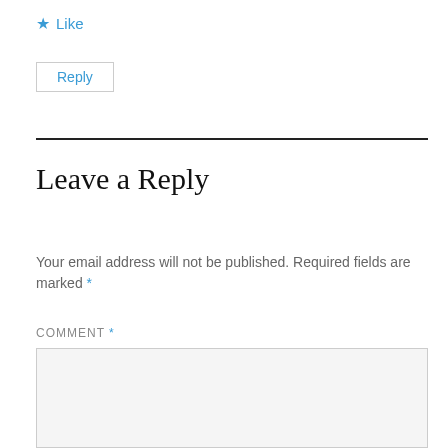★ Like
Reply
Leave a Reply
Your email address will not be published. Required fields are marked *
COMMENT *